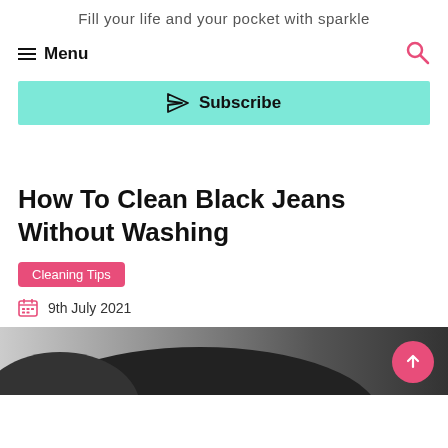Fill your life and your pocket with sparkle
Menu
Subscribe
How To Clean Black Jeans Without Washing
Cleaning Tips
9th July 2021
[Figure (photo): Black jeans folded/laid on a surface, partially visible at the bottom of the page]